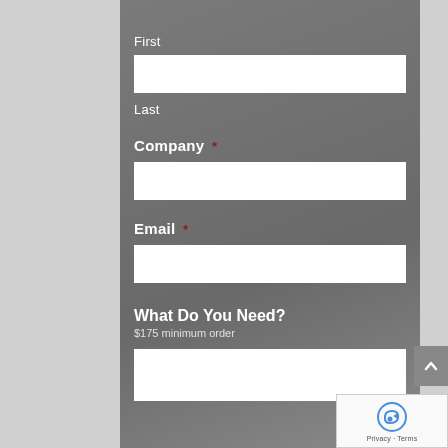[Figure (screenshot): Web form screenshot showing fields for First (partially visible at top), Last, Company (required), Email (required), What Do You Need? section header with $175 minimum order subtext, and a text area input. A scroll-to-top button and reCAPTCHA badge are visible on the right side.]
First
Last
Company *
Email *
What Do You Need?
$175 minimum order